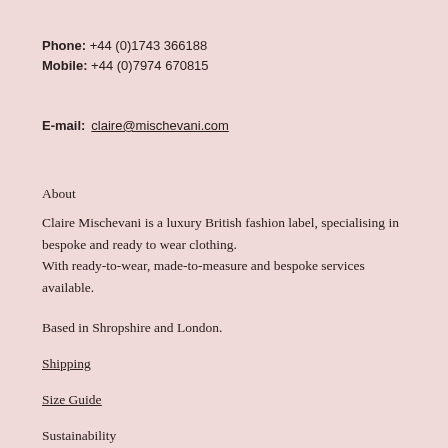Phone: +44 (0)1743 366188
Mobile: +44 (0)7974 670815
E-mail: claire@mischevani.com
About
Claire Mischevani is a luxury British fashion label, specialising in bespoke and ready to wear clothing.
With ready-to-wear, made-to-measure and bespoke services available.
Based in Shropshire and London.
Shipping
Size Guide
Sustainability